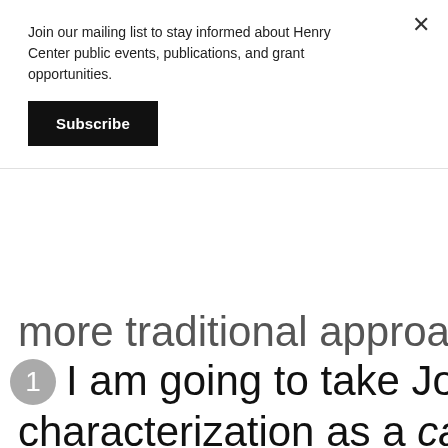Join our mailing list to stay informed about Henry Center public events, publications, and grant opportunities.
Subscribe
more traditional approaches to
1 I am going to take Johnson characterization as a captatio benevolentiae rather than an empirical claim, since there are plenty of clergy, and parishioners among the "populists" who are quite accomplished and erudite, he is speaking more